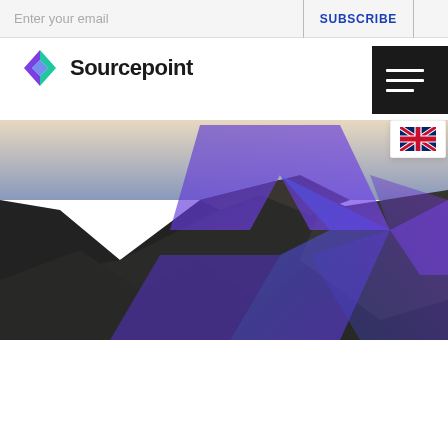Enter your email | SUBSCRIBE
[Figure (logo): Sourcepoint logo with purple/blue/green chevron icon and 'Sourcepoint' text in dark bold sans-serif]
[Figure (other): Hamburger menu icon (three horizontal white lines) on dark background with UK flag icon below]
[Figure (photo): Hero image of dark rocky mountains with purple/violet geometric diamond overlay patterns fading from left to right]